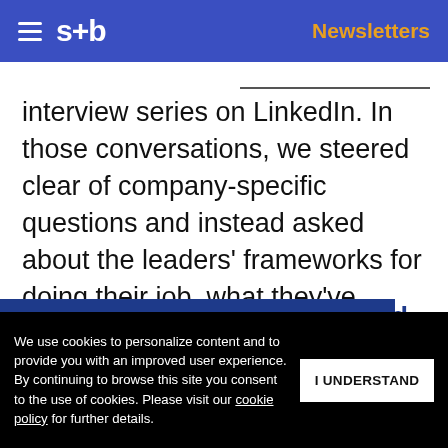s+b | Newsletters
interview series on LinkedIn. In those conversations, we steered clear of company-specific questions and instead asked about the leaders’ frameworks for doing their job, what they’ve learned, and what CEOs have had to change in order to fully leverage HR.
Get s+b’s award-winning newsletter delivered to your inbox.
The CHROs we’ve interviewed nd worked ... according to their CEOs and
We use cookies to personalize content and to provide you with an improved user experience. By continuing to browse this site you consent to the use of cookies. Please visit our cookie policy for further details. I UNDERSTAND